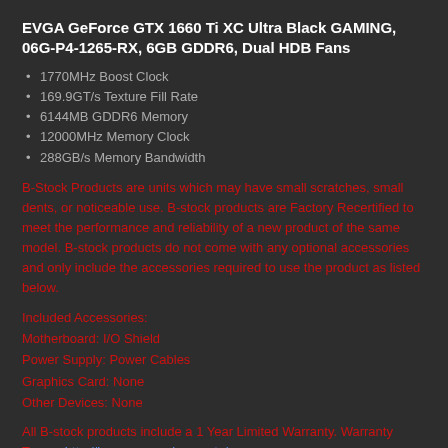EVGA GeForce GTX 1660 Ti XC Ultra Black GAMING, 06G-P4-1265-RX, 6GB GDDR6, Dual HDB Fans
1770MHz Boost Clock
169.9GT/s Texture Fill Rate
6144MB GDDR6 Memory
12000MHz Memory Clock
288GB/s Memory Bandwidth
B-Stock Products are units which may have small scratches, small dents, or noticeable use. B-stock products are Factory Recertified to meet the performance and reliability of a new product of the same model. B-stock products do not come with any optional accessories and only include the accessories required to use the product as listed below.
Included Accessories:
Motherboard: I/O Shield
Power Supply: Power Cables
Graphics Card: None
Other Devices: None
All B-stock products include a 1 Year Limited Warranty. Warranty Terms: http://bc.evga.com/warranty/